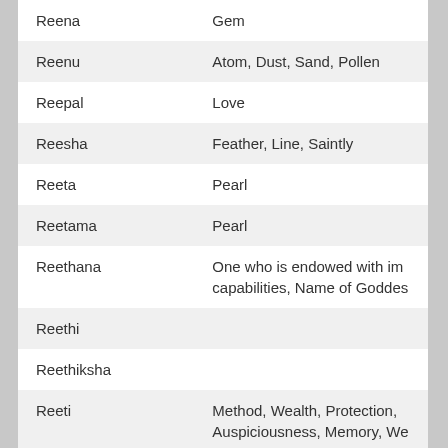| Name | Meaning |
| --- | --- |
| Reena | Gem |
| Reenu | Atom, Dust, Sand, Pollen |
| Reepal | Love |
| Reesha | Feather, Line, Saintly |
| Reeta | Pearl |
| Reetama | Pearl |
| Reethana | One who is endowed with im capabilities, Name of Goddes |
| Reethi |  |
| Reethiksha |  |
| Reeti | Method, Wealth, Protection, Auspiciousness, Memory, We |